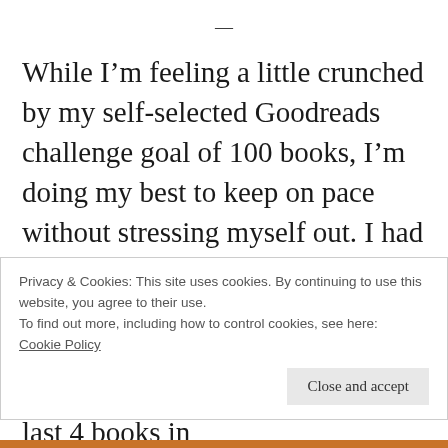—
While I'm feeling a little crunched by my self-selected Goodreads challenge goal of 100 books, I'm doing my best to keep on pace without stressing myself out. I had a good weekend of catch-up -- finishing two books in two days -- and I'm mostly just hoping that the quality of books continues. My last 4 books in
Privacy & Cookies: This site uses cookies. By continuing to use this website, you agree to their use.
To find out more, including how to control cookies, see here:
Cookie Policy

Close and accept